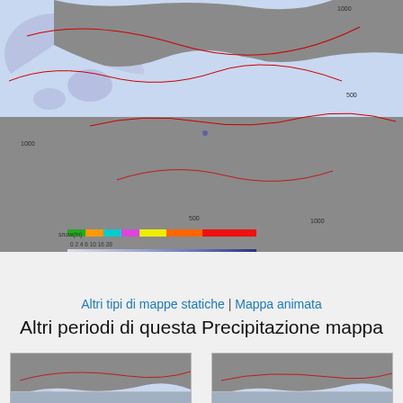[Figure (map): Precipitation map showing weather patterns over North Africa and southern Europe with colored precipitation overlay and red contour lines]
Altri tipi di mappe statiche | Mappa animata
Altri periodi di questa Precipitazione mappa
[Figure (map): Small thumbnail precipitation map of western Europe/North Africa, Friday 02 Sep 4am]
Friday 02 Sep 4am
[Figure (map): Small thumbnail precipitation map of western Europe/North Africa, Friday 02 Sep 7am]
Friday 02 Sep 7am